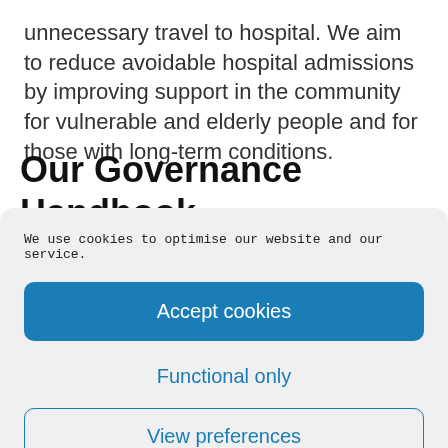unnecessary travel to hospital. We aim to reduce avoidable hospital admissions by improving support in the community for vulnerable and elderly people and for those with long-term conditions.
Our Governance Handbook
We use cookies to optimise our website and our service.
Accept cookies
Functional only
View preferences
Cookie Policy